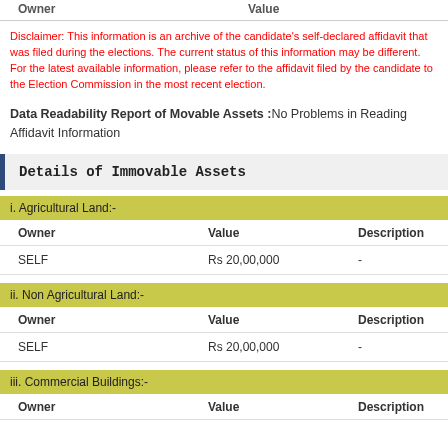| Owner | Value |
| --- | --- |
Disclaimer: This information is an archive of the candidate's self-declared affidavit that was filed during the elections. The current status of this information may be different. For the latest available information, please refer to the affidavit filed by the candidate to the Election Commission in the most recent election.
Data Readability Report of Movable Assets :No Problems in Reading Affidavit Information
Details of Immovable Assets
| Owner | Value | Description |
| --- | --- | --- |
| SELF | Rs 20,00,000 | - |
| Owner | Value | Description |
| --- | --- | --- |
| SELF | Rs 20,00,000 | - |
| Owner | Value | Description |
| --- | --- | --- |